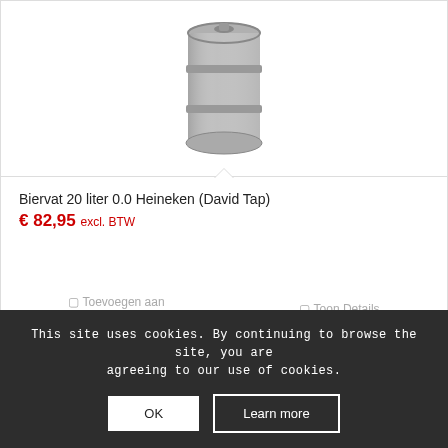[Figure (photo): A metal beer keg (biervat), cylindrical shape, gray/silver color, shown from above slightly angled]
Biervat 20 liter 0.0 Heineken (David Tap)
€ 82,95 excl. BTW
☐ Toevoegen aan winkelwagen
☐ Toon Details
This site uses cookies. By continuing to browse the site, you are agreeing to our use of cookies.
OK
Learn more